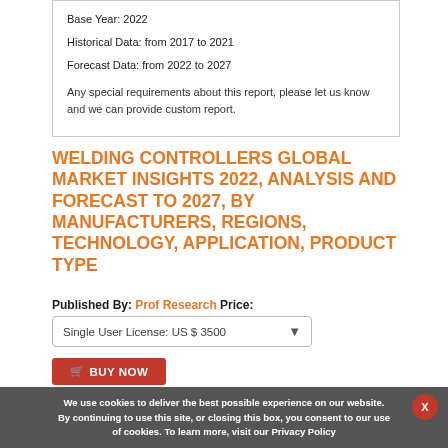Base Year: 2022
Historical Data: from 2017 to 2021
Forecast Data: from 2022 to 2027

Any special requirements about this report, please let us know and we can provide custom report.
WELDING CONTROLLERS GLOBAL MARKET INSIGHTS 2022, ANALYSIS AND FORECAST TO 2027, BY MANUFACTURERS, REGIONS, TECHNOLOGY, APPLICATION, PRODUCT TYPE
Published By: Prof Research Price:
Single User License: US $ 3500
BUY NOW
We use cookies to deliver the best possible experience on our website. By continuing to use this site, or closing this box, you consent to our use of cookies. To learn more, visit our Privacy Policy